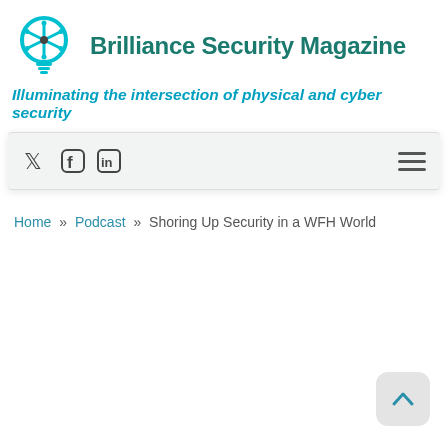[Figure (logo): Brilliance Security Magazine logo: a cyan lightbulb with a snowflake/asterisk symbol inside]
Brilliance Security Magazine
Illuminating the intersection of physical and cyber security
[Figure (screenshot): Navigation bar with social media icons (Twitter, Facebook, LinkedIn) on the left and a hamburger menu icon on the right]
Home » Podcast » Shoring Up Security in a WFH World